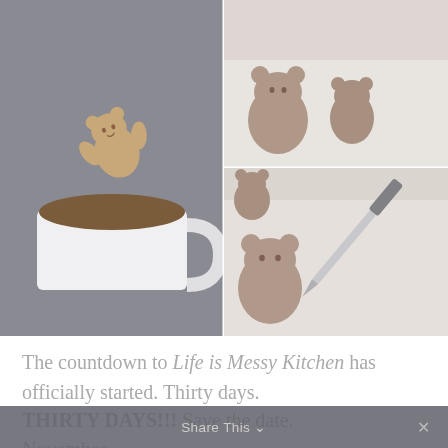[Figure (photo): Three-photo collage: left photo shows a bear-shaped cookie balanced on the rim of a white mug with hot chocolate; top-right photo shows two bear-shaped raw dough cookies on a light surface; bottom-right photo shows bear-shaped dough with a knife beside it on a white surface.]
The countdown to Life is Messy Kitchen has officially started. Thirty days.
THIRTY DAYS!!! Save the date. November
Share This ∨    ✕